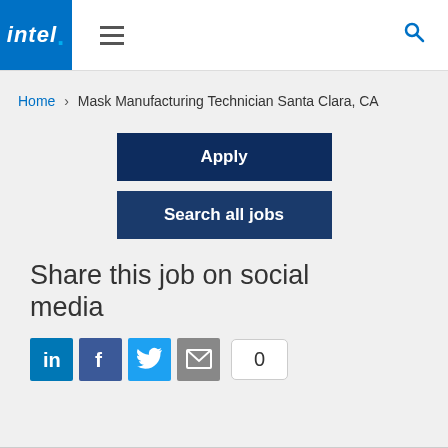[Figure (logo): Intel logo — white italic text on blue background with a dot]
Intel navigation header with hamburger menu and search icon
Home › Mask Manufacturing Technician Santa Clara, CA
Apply
Search all jobs
Share this job on social media
[Figure (infographic): Social media share icons: LinkedIn, Facebook, Twitter, Email, and a share count badge showing 0]